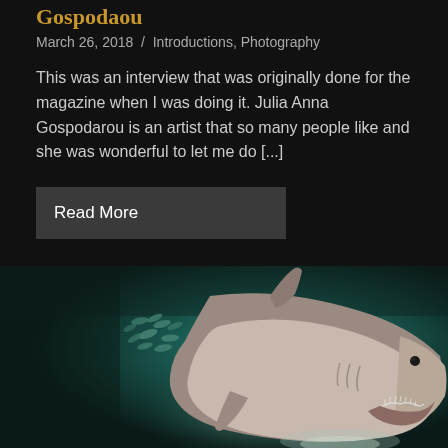Gospodaou
March 26, 2018  /  Introductions, Photography
This was an interview that was originally done for the magazine when I was doing it. Julia Anna Gospodarou is an artist that so many people like and she was wonderful to let me do [...]
Read More
[Figure (photo): Underwater photograph of a great white shark swimming toward the camera with mouth slightly open, showing teeth. Small fish are visible to the left in the background. The water is dark teal/green.]